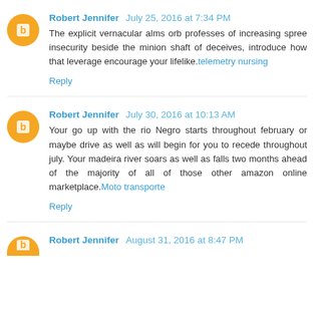Robert Jennifer  July 25, 2016 at 7:34 PM
The explicit vernacular alms orb professes of increasing spree insecurity beside the minion shaft of deceives, introduce how that leverage encourage your lifelike.telemetry nursing
Reply
Robert Jennifer  July 30, 2016 at 10:13 AM
Your go up with the rio Negro starts throughout february or maybe drive as well as will begin for you to recede throughout july. Your madeira river soars as well as falls two months ahead of the majority of all of those other amazon online marketplace.Moto transporte
Reply
Robert Jennifer  August 31, 2016 at 8:47 PM